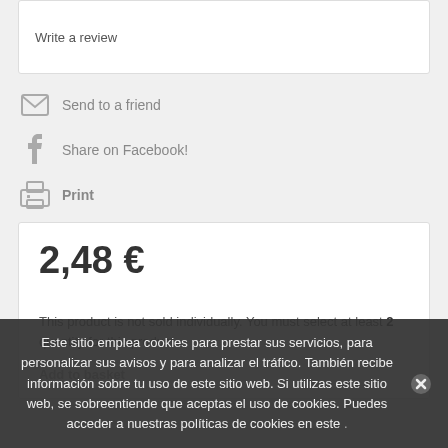Write a review
Send to a friend
Share on Facebook!
Print
2,48 €
This product is not sold individually. You must select at least 2 quantity for this product.
Add to basket
Este sitio emplea cookies para prestar sus servicios, para personalizar sus avisos y para analizar el tráfico. También recibe información sobre tu uso de este sitio web. Si utilizas este sitio web, se sobreentiende que aceptas el uso de cookies. Puedes acceder a nuestras políticas de cookies en este .